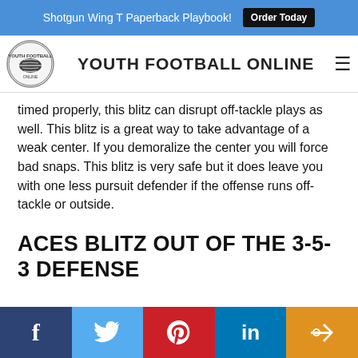Shotgun Wing T Paperback Playbook! Order Today
YOUTH FOOTBALL ONLINE
timed properly, this blitz can disrupt off-tackle plays as well. This blitz is a great way to take advantage of a weak center. If you demoralize the center you will force bad snaps. This blitz is very safe but it does leave you with one less pursuit defender if the offense runs off-tackle or outside.
ACES BLITZ OUT OF THE 3-5-3 DEFENSE
Facebook Twitter Pinterest LinkedIn Share